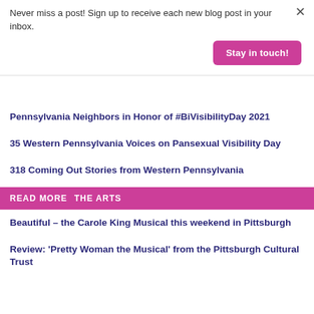Never miss a post! Sign up to receive each new blog post in your inbox.
Stay in touch!
Pennsylvania Neighbors in Honor of #BiVisibilityDay 2021
35 Western Pennsylvania Voices on Pansexual Visibility Day
318 Coming Out Stories from Western Pennsylvania
READ MORE  THE ARTS
Beautiful – the Carole King Musical this weekend in Pittsburgh
Review: 'Pretty Woman the Musical' from the Pittsburgh Cultural Trust